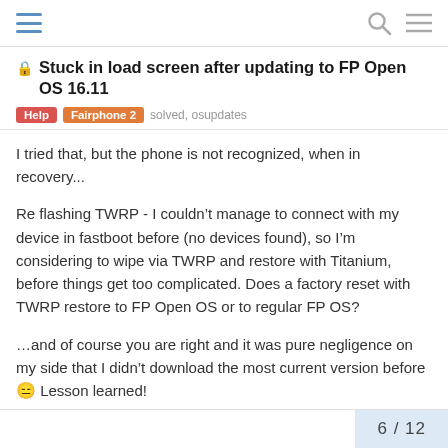Stuck in load screen after updating to FP Open OS 16.11 | Help | Fairphone 2 | solved, osupdates
I tried that, but the phone is not recognized, when in recovery...
Re flashing TWRP - I couldn't manage to connect with my device in fastboot before (no devices found), so I'm considering to wipe via TWRP and restore with Titanium, before things get too complicated. Does a factory reset with TWRP restore to FP Open OS or to regular FP OS?
...and of course you are right and it was pure negligence on my side that I didn't download the most current version before 😑 Lesson learned!
6 / 12